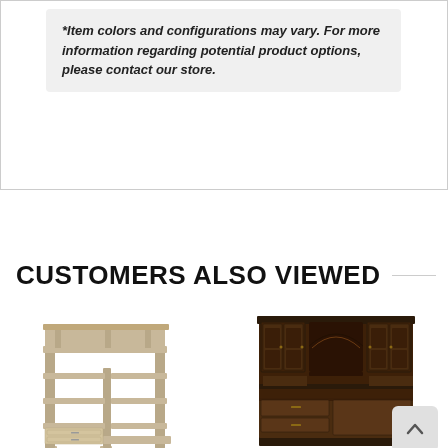*Item colors and configurations may vary. For more information regarding potential product options, please contact our store.
CUSTOMERS ALSO VIEWED
[Figure (photo): Light wood open-shelf desk unit with multiple shelves and drawers]
[Figure (photo): Dark wood large hutch/bookcase desk combo with cabinets and shelves]